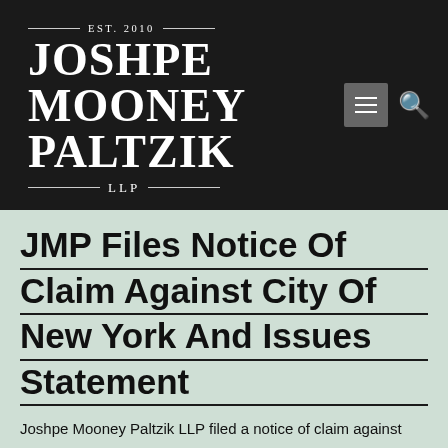[Figure (logo): Joshpe Mooney Paltzik LLP law firm logo with EST. 2010, firm name in large serif font, and decorative horizontal rules, on a dark background with menu and search icons]
JMP Files Notice Of Claim Against City Of New York And Issues Statement
Joshpe Mooney Paltzik LLP filed a notice of claim against